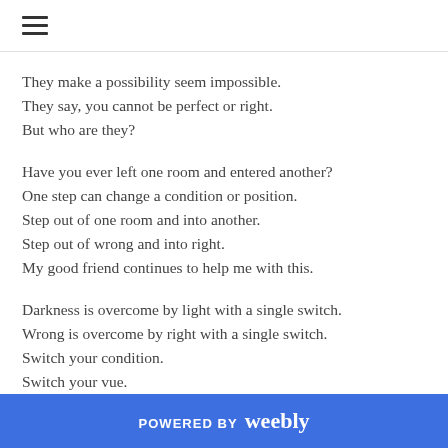≡
They make a possibility seem impossible.
They say, you cannot be perfect or right.
But who are they?
Have you ever left one room and entered another?
One step can change a condition or position.
Step out of one room and into another.
Step out of wrong and into right.
My good friend continues to help me with this.
Darkness is overcome by light with a single switch.
Wrong is overcome by right with a single switch.
Switch your condition.
Switch your vue.
It is not as far from you as you may think.
POWERED BY weebly